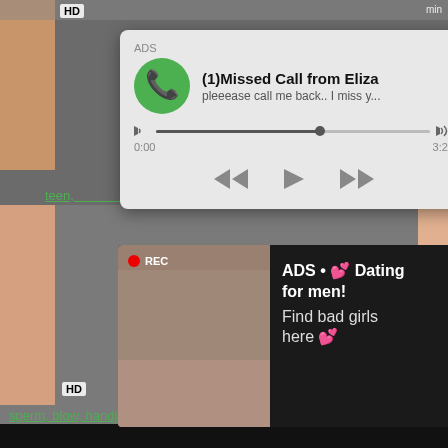[Figure (screenshot): Phone missed call notification ad card with audio player. Shows '(1)Missed Call from Eliza' with message 'pleeease call me back.. I miss y...' and playback controls. Labeled ADS.]
teen, ... , fe...
[Figure (screenshot): Dating ad showing woman taking selfie in mirror with REC indicator, alongside text: ADS • 💕 Dating for men! Find bad girls here 💕]
Nasty Hottie Gets Sperm Blow Handjob
sperm, blow, handjob, POV, bukkake, cumswap, job, faci...